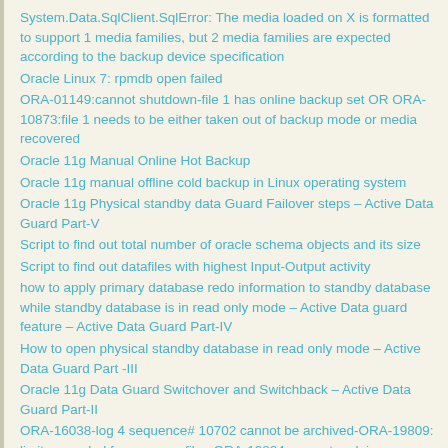System.Data.SqlClient.SqlError: The media loaded on X is formatted to support 1 media families, but 2 media families are expected according to the backup device specification
Oracle Linux 7: rpmdb open failed
ORA-01149:cannot shutdown-file 1 has online backup set OR ORA-10873:file 1 needs to be either taken out of backup mode or media recovered
Oracle 11g Manual Online Hot Backup
Oracle 11g manual offline cold backup in Linux operating system
Oracle 11g Physical standby data Guard Failover steps – Active Data Guard Part-V
Script to find out total number of oracle schema objects and its size
Script to find out datafiles with highest Input-Output activity
how to apply primary database redo information to standby database while standby database is in read only mode – Active Data guard feature – Active Data Guard Part-IV
How to open physical standby database in read only mode – Active Data Guard Part -III
Oracle 11g Data Guard Switchover and Switchback – Active Data Guard Part-II
ORA-16038-log 4 sequence# 10702 cannot be archived-ORA-19809: limit exceeded for recovery files-ORA-19804: cannot reclaim 52428800 bytes disk space from 107374182400 limit